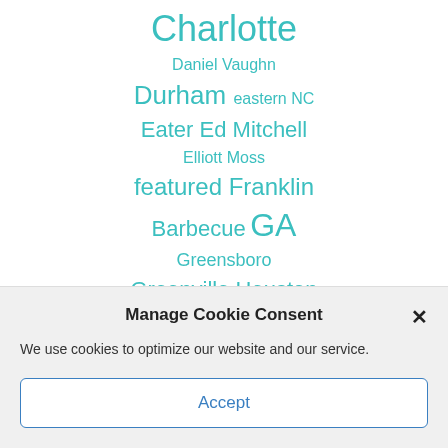Charlotte
Daniel Vaughn
Durham eastern NC
Eater Ed Mitchell
Elliott Moss
featured Franklin Barbecue GA
Greensboro
Greenville Houston
Jim Noble John Lewis
Manage Cookie Consent
We use cookies to optimize our website and our service.
Accept